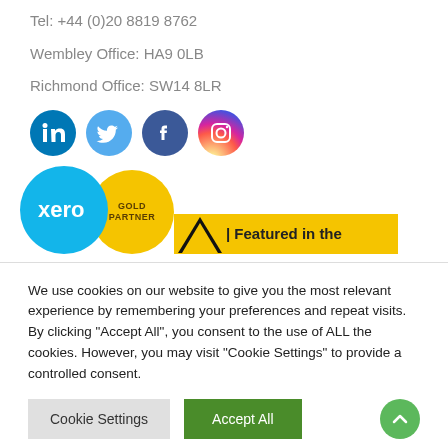Tel: +44 (0)20 8819 8762
Wembley Office: HA9 0LB
Richmond Office: SW14 8LR
[Figure (illustration): Social media icons: LinkedIn, Twitter, Facebook, Instagram]
[Figure (logo): Xero logo with Gold Partner badge and Featured in the bar]
We use cookies on our website to give you the most relevant experience by remembering your preferences and repeat visits. By clicking "Accept All", you consent to the use of ALL the cookies. However, you may visit "Cookie Settings" to provide a controlled consent.
Cookie Settings | Accept All